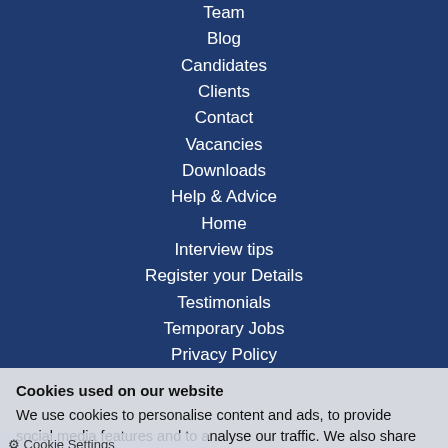Team
Blog
Candidates
Clients
Contact
Vacancies
Downloads
Help & Advice
Home
Interview tips
Register your Details
Testimonials
Temporary Jobs
Privacy Policy
2022 © 2i Recruit Ltd. All rights reserved.
Cookies used on our website
We use cookies to personalise content and ads, to provide social media features and to analyse our traffic. We also share